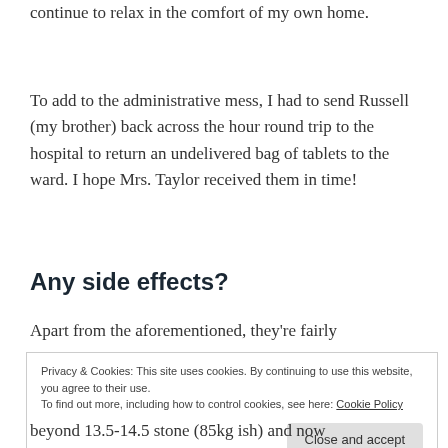continue to relax in the comfort of my own home.
To add to the administrative mess, I had to send Russell (my brother) back across the hour round trip to the hospital to return an undelivered bag of tablets to the ward. I hope Mrs. Taylor received them in time!
Any side effects?
Apart from the aforementioned, they're fairly
Privacy & Cookies: This site uses cookies. By continuing to use this website, you agree to their use.
To find out more, including how to control cookies, see here: Cookie Policy
beyond 13.5-14.5 stone (85kg ish) and now